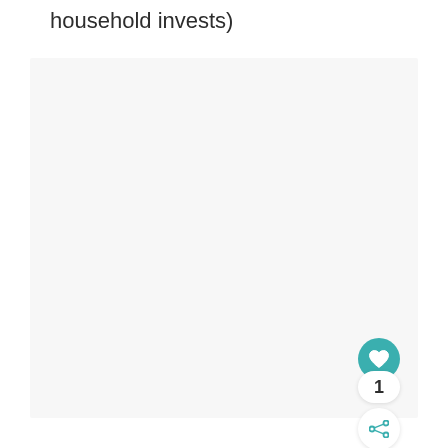household invests)
[Figure (other): Large light gray content area placeholder box]